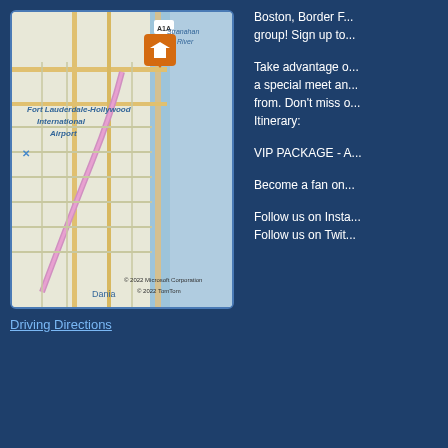[Figure (map): Map showing Fort Lauderdale-Hollywood International Airport area with a location pin marker. Map data © 2022 Microsoft Corporation © 2022 TomTom. Shows road A1A, Stranahan River, Dania labeled.]
Driving Directions
Boston, Border F... group! Sign up to...
Take advantage o... a special meet an... from. Don't miss o... Itinerary:
VIP PACKAGE - A...
Become a fan on...
Follow us on Insta...
Follow us on Twit...